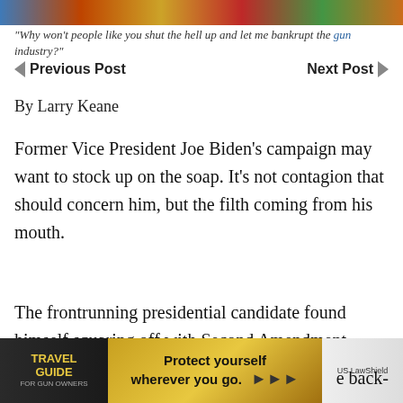[Figure (photo): Colorful image strip at the top of the page, appears to be a cropped photo with bright colors]
"Why won't people like you shut the hell up and let me bankrupt the gun industry?"
◄ Previous Post    Next Post ►
By Larry Keane
Former Vice President Joe Biden's campaign may want to stock up on the soap. It's not contagion that should concern him, but the filth coming from his mouth.
The frontrunning presidential candidate found himself squaring off with Second Amendment supporting union workers during a tour in
[Figure (photo): Travel Guide for Gun Owners advertisement banner: 'Protect yourself wherever you go.' with US LawShield branding]
e back-